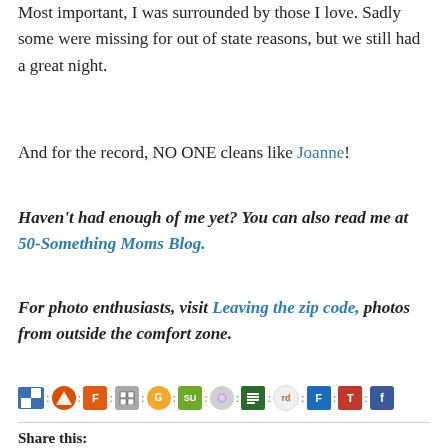Most important, I was surrounded by those I love. Sadly some were missing for out of state reasons, but we still had a great night.
And for the record, NO ONE cleans like Joanne!
Haven't had enough of me yet? You can also read me at 50-Something Moms Blog.
For photo enthusiasts, visit Leaving the zip code, photos from outside the comfort zone.
[Figure (infographic): Row of social sharing icons (del.icio.us, Digg, Furl, FriendFeed, Google News, StumbleUpon, Yahoo, Google, Reddit, FriendFeed, Technorati, Facebook) separated by colons.]
Share this: